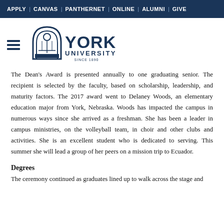APPLY | CANVAS | PANTHERNET | ONLINE | ALUMNI | GIVE
[Figure (logo): York University logo with arch icon and text 'YORK UNIVERSITY SINCE 1890']
The Dean's Award is presented annually to one graduating senior. The recipient is selected by the faculty, based on scholarship, leadership, and maturity factors. The 2017 award went to Delaney Woods, an elementary education major from York, Nebraska. Woods has impacted the campus in numerous ways since she arrived as a freshman. She has been a leader in campus ministries, on the volleyball team, in choir and other clubs and activities. She is an excellent student who is dedicated to serving. This summer she will lead a group of her peers on a mission trip to Ecuador.
Degrees
The ceremony continued as graduates lined up to walk across the stage and